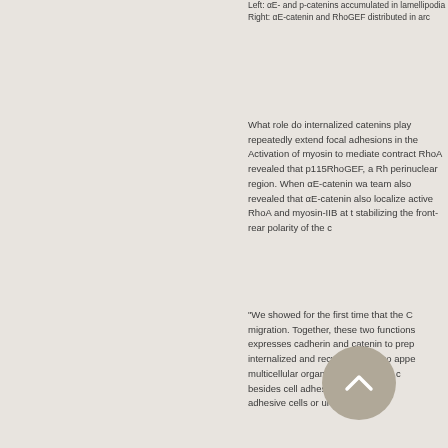Left: αE- and p-catenins accumulated in lamellipodia Right: αE-catenin and RhoGEF distributed in arc...
What role do internalized catenins play repeatedly extend focal adhesions in the Activation of myosin to mediate contract RhoA revealed that p115RhoGEF, a Rh perinuclear region. When αE-catenin wa team also revealed that αE-catenin also localize active RhoA and myosin-IIB at t stabilizing the front-rear polarity of the c
"We showed for the first time that the C migration. Together, these two functions expresses cadherin and catenin to prep internalized and recycled, but also appe multicellular organisms, α-ca was c besides cell adhesion. It w sti adhesive cells or unicellu ms."